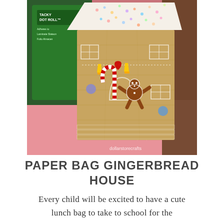[Figure (photo): A paper bag gingerbread house craft sitting on a pink surface. The bag has a patterned paper roof with colorful dots. The front of the bag is decorated with white chalk-drawn windows, a door, a gingerbread man sticker, candy cane sticker, colorful candy decorations, and hearts. Behind the bag are craft supplies including a green 'Tacky Dot Roll' adhesive product. The watermark 'dollarstorecrafts' is visible in the lower right corner.]
PAPER BAG GINGERBREAD HOUSE
Every child will be excited to have a cute lunch bag to take to school for the